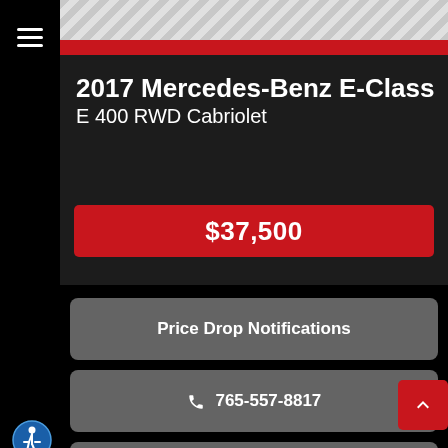[Figure (screenshot): Mobile app screenshot of a car dealership listing page for a 2017 Mercedes-Benz E-Class E 400 RWD Cabriolet priced at $37,500, with buttons for Price Drop Notifications, phone 765-557-8817, and Inquiry.]
2017 Mercedes-Benz E-Class E 400 RWD Cabriolet
$37,500
Price Drop Notifications
765-557-8817
Inquiry